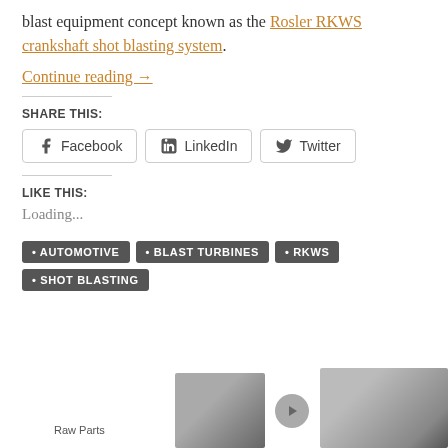blast equipment concept known as the Rosler RKWS crankshaft shot blasting system.
Continue reading →
SHARE THIS:
Facebook  LinkedIn  Twitter
LIKE THIS:
Loading...
AUTOMOTIVE
BLAST TURBINES
RKWS
SHOT BLASTING
[Figure (photo): Small thumbnail photo of raw parts - a metallic industrial component]